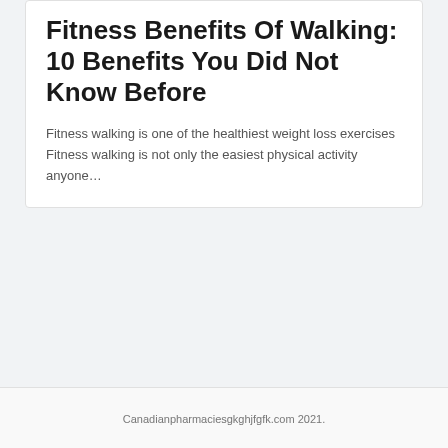Fitness Benefits Of Walking: 10 Benefits You Did Not Know Before
Fitness walking is one of the healthiest weight loss exercises Fitness walking is not only the easiest physical activity anyone…
Canadianpharmaciesgkghjfgfk.com 2021.